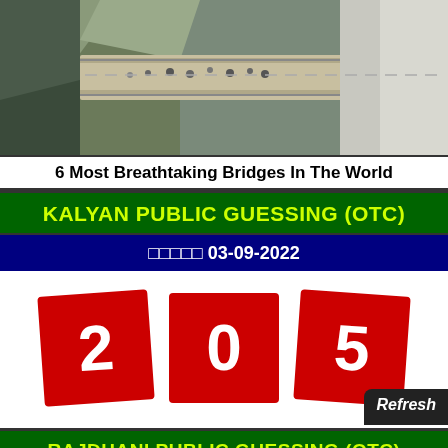[Figure (photo): Aerial view of a bridge with people walking on it, surrounded by rocky terrain — labelled as one of the most breathtaking bridges in the world]
6 Most Breathtaking Bridges In The World
KALYAN PUBLIC GUESSING (OTC)
□□□□□ 03-09-2022
[Figure (infographic): Three red tiles showing digits 2, 0, 5]
RAJDHANI PUBLIC GUESSING (OTC)
□□□□□ 03-09-2022